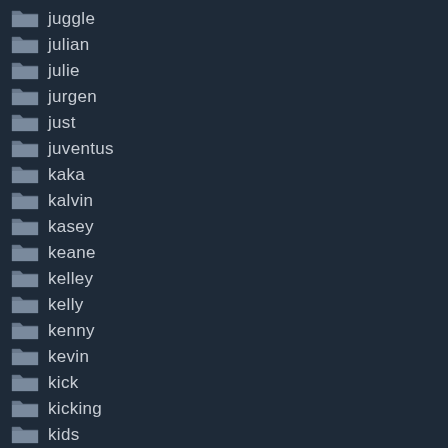juggle
julian
julie
jurgen
just
juventus
kaka
kalvin
kasey
keane
kelley
kelly
kenny
kevin
kick
kicking
kids
kings